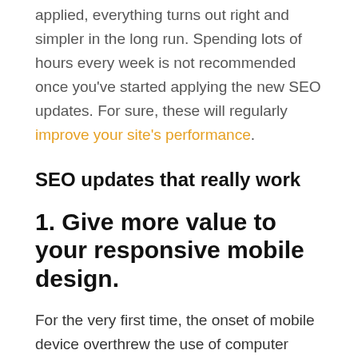applied, everything turns out right and simpler in the long run. Spending lots of hours every week is not recommended once you've started applying the new SEO updates. For sure, these will regularly improve your site's performance.
SEO updates that really work
1. Give more value to your responsive mobile design.
For the very first time, the onset of mobile device overthrew the use of computer desktop just a year ago. And almost close to 50% of the total online